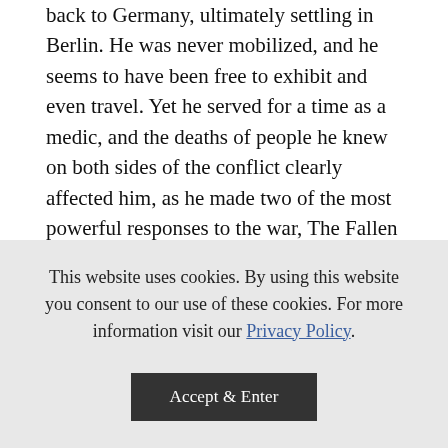back to Germany, ultimately settling in Berlin. He was never mobilized, and he seems to have been free to exhibit and even travel. Yet he served for a time as a medic, and the deaths of people he knew on both sides of the conflict clearly affected him, as he made two of the most powerful responses to the war, The Fallen Man (1915-1916) and Seated Youth (1916-1917). I have not seen the actual sculptures, but a number of writers have called them the finest Lehmbruck made. The Fallen Man, in photographs, is an amazing conception. Almost eight feet long, it shows a large-boned and very lean nude man crawling on his knees and elbows.
This website uses cookies. By using this website you consent to our use of these cookies. For more information visit our Privacy Policy.
Accept & Enter